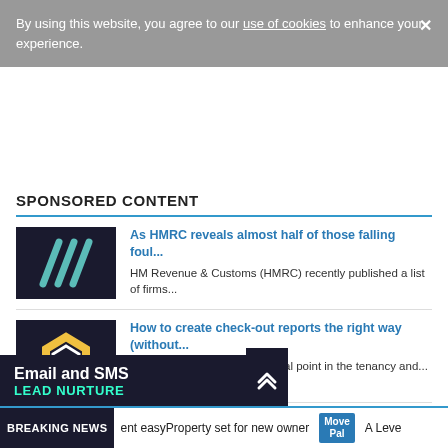By using this website, you agree to our use of cookies to enhance your experience.
SPONSORED CONTENT
[Figure (illustration): Dark navy background with three diagonal teal stripes (///)]
As HMRC reveals almost half of those falling foul...
HM Revenue & Customs (HMRC) recently published a list of firms...
[Figure (illustration): Dark background with yellow and white hexagonal gear/bolt logo]
How to create check-out reports the right way (without...
The check-out report is a critical point in the tenancy and...
[Figure (illustration): Dark background with blue robotic/conveyor icon]
How conveyancers are using due diligence to attract estate...
Smart conveyancers are making themselves indispensable to ...
[Figure (advertisement): Email and SMS Lead Nurture ad bar with chevron arrow]
BREAKING NEWS   ent easyProperty set for new owner   MovePal   A Leve